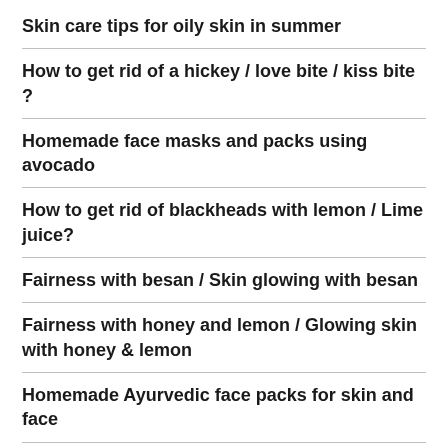Skin care tips for oily skin in summer
How to get rid of a hickey / love bite / kiss bite ?
Homemade face masks and packs using avocado
How to get rid of blackheads with lemon / Lime juice?
Fairness with besan / Skin glowing with besan
Fairness with honey and lemon / Glowing skin with honey & lemon
Homemade Ayurvedic face packs for skin and face
Fairness with coconut oil / Better skin complexion with coconut oil
Fairness with honey / Honey face packs for skin